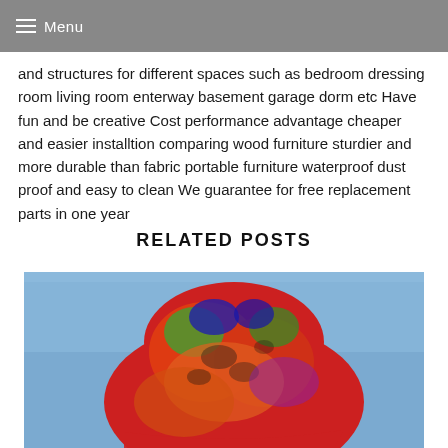Menu
and structures for different spaces such as bedroom dressing room living room enterway basement garage dorm etc Have fun and be creative Cost performance advantage cheaper and easier installtion comparing wood furniture sturdier and more durable than fabric portable furniture waterproof dust proof and easy to clean We guarantee for free replacement parts in one year
RELATED POSTS
[Figure (photo): A colorful patterned fabric or sculpture with vibrant red, orange, green and blue patterns against a blue sky background]